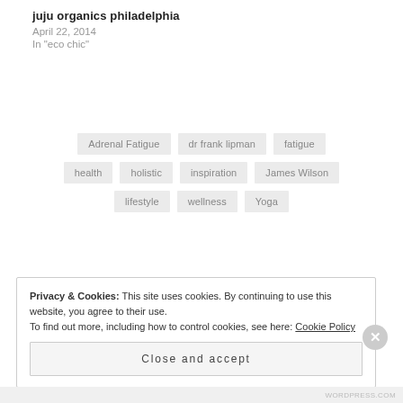juju organics philadelphia
April 22, 2014
In "eco chic"
Adrenal Fatigue
dr frank lipman
fatigue
health
holistic
inspiration
James Wilson
lifestyle
wellness
Yoga
Privacy & Cookies: This site uses cookies. By continuing to use this website, you agree to their use. To find out more, including how to control cookies, see here: Cookie Policy
Close and accept
WORDPRESS.COM